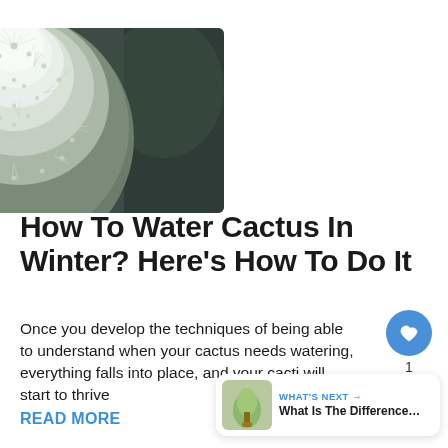[Figure (photo): Close-up macro photograph of a round white/green cactus with dense white spines, blurred dark background]
How To Water Cactus In Winter? Here’s How To Do It
Once you develop the techniques of being able to understand when your cactus needs watering, everything falls into place, and your cacti will start to thrive
READ MORE